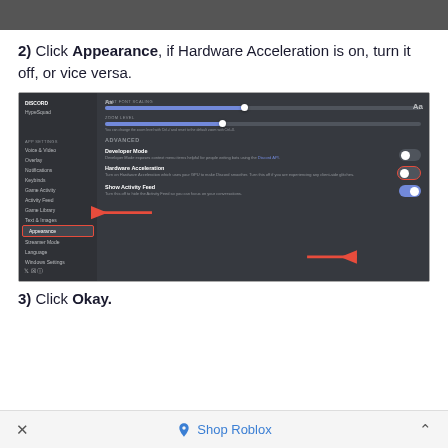[Figure (screenshot): Top partial image bar, gray/dark screenshot strip at top of page]
2) Click Appearance, if Hardware Acceleration is on, turn it off, or vice versa.
[Figure (screenshot): Discord Appearance settings screenshot showing Hardware Acceleration toggle with red arrows and box highlights]
3) Click Okay.
× Shop Roblox ^